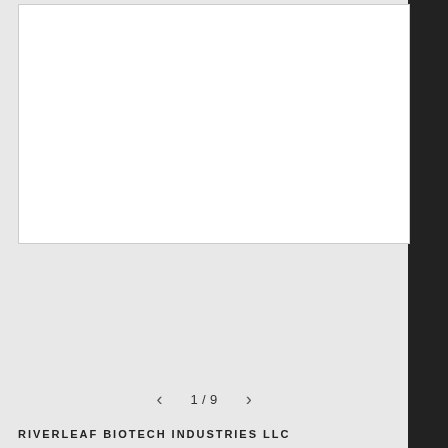[Figure (other): White document panel placeholder with border, partially obscured by a dark photographic image on the right edge]
1 / 9
RIVERLEAF BIOTECH INDUSTRIES LLC